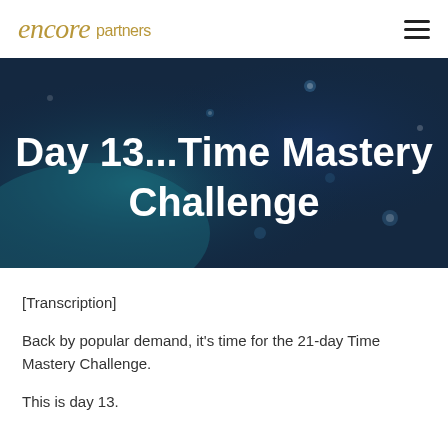encore partners
[Figure (illustration): Dark blue bokeh/abstract background banner with white bold text: Day 13...Time Mastery Challenge]
Day 13...Time Mastery Challenge
[Transcription]
Back by popular demand, it's time for the 21-day Time Mastery Challenge.
This is day 13.